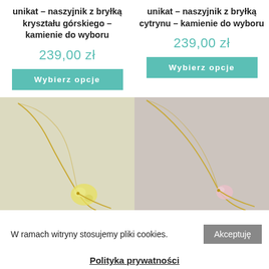unikat – naszyjnik z bryłką kryształu górskiego – kamienie do wyboru
unikat – naszyjnik z bryłką cytrynu – kamienie do wyboru
239,00 zł
239,00 zł
Wybierz opcje
Wybierz opcje
[Figure (photo): Gold necklace with a translucent yellow-green crystal pendant on light background]
[Figure (photo): Gold necklace with a small pink/rose quartz pendant on light background]
W ramach witryny stosujemy pliki cookies.
Akceptuję
Polityka prywatności